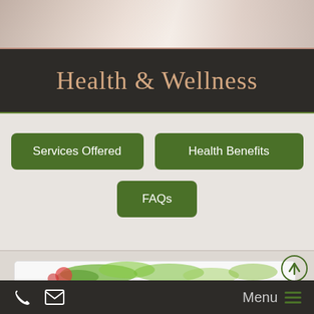[Figure (photo): Top banner with health/wellness related imagery, hands and light bokeh background]
Health & Wellness
Services Offered
Health Benefits
FAQs
[Figure (photo): Card with fresh vegetables including green herbs/lettuce and tomatoes]
Menu